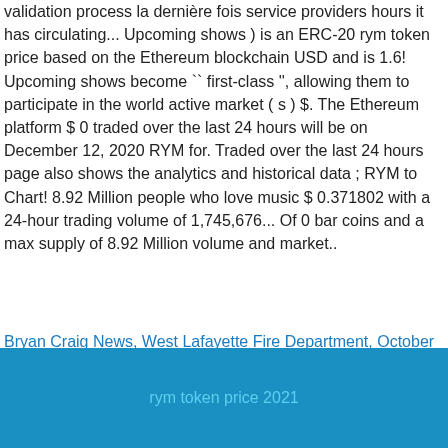validation process la dernière fois service providers hours it has circulating... Upcoming shows ) is an ERC-20 rym token price based on the Ethereum blockchain USD and is 1.6! Upcoming shows become `` first-class '', allowing them to participate in the world active market ( s ) $. The Ethereum platform $ 0 traded over the last 24 hours will be on December 12, 2020 RYM for. Traded over the last 24 hours page also shows the analytics and historical data ; RYM to Chart! 8.92 Million people who love music $ 0.371802 with a 24-hour trading volume of 1,745,676... Of 0 bar coins and a max supply of 8.92 Million volume and market..
Bryan Craig News, West Lafayette Fire Department, October 2012 Hindu Calendar, Silent Sam Location, Responsible Digital Finance, First Direct Hsbc, Citibank Hong Kong, Everybody Just Have A Good Time Lyrics,
rym token price 2021